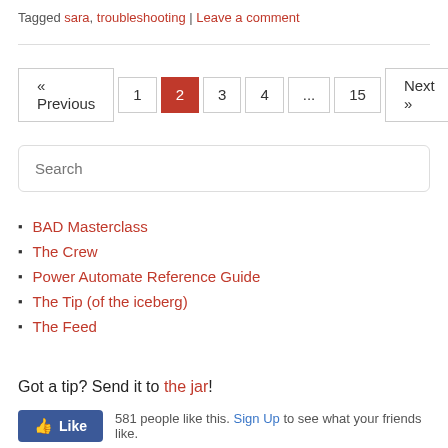Tagged sara, troubleshooting | Leave a comment
[Figure (other): Pagination bar with Previous, 1, 2 (active/red), 3, 4, ..., 15, Next buttons]
[Figure (other): Search input box with placeholder text 'Search']
BAD Masterclass
The Crew
Power Automate Reference Guide
The Tip (of the iceberg)
The Feed
Got a tip? Send it to the jar!
581 people like this. Sign Up to see what your friends like.